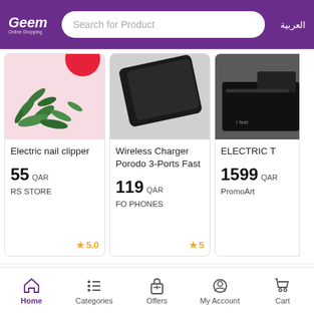Geem Online Shopping | Search for Product | العربية
[Figure (screenshot): Product card: Electric nail clipper, pink background with green leaves and red ball]
Electric nail clipper
55 QAR
RS STORE
★5.0
[Figure (screenshot): Product card: Wireless Charger Porodo 3-Ports Fast, dark/grey background]
Wireless Charger Porodo 3-Ports Fast
119 QAR
FO PHONES
★5
[Figure (screenshot): Product card: ELECTRIC T, partially visible, dark background with device]
ELECTRIC T
1599 QAR
PromoArt
Best Perfumes
View All
Home | Categories | Offers | My Account | Cart